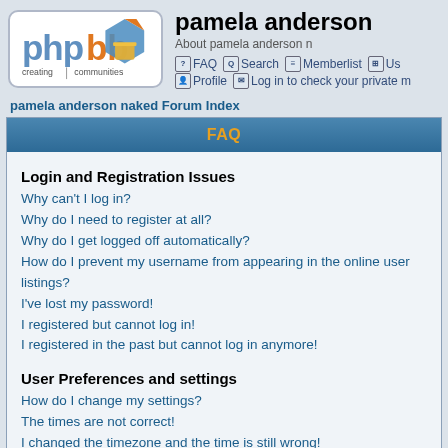[Figure (logo): phpBB logo with text 'creating communities' and geometric shapes in blue and orange]
pamela anderson
About pamela anderson n
FAQ  Search  Memberlist  Us  Profile  Log in to check your private m
pamela anderson naked Forum Index
FAQ
Login and Registration Issues
Why can't I log in?
Why do I need to register at all?
Why do I get logged off automatically?
How do I prevent my username from appearing in the online user listings?
I've lost my password!
I registered but cannot log in!
I registered in the past but cannot log in anymore!
User Preferences and settings
How do I change my settings?
The times are not correct!
I changed the timezone and the time is still wrong!
My language is not in the list!
How do I show an image below my username?
How do I change my rank?
When I click the email link for a user it asks me to log in.